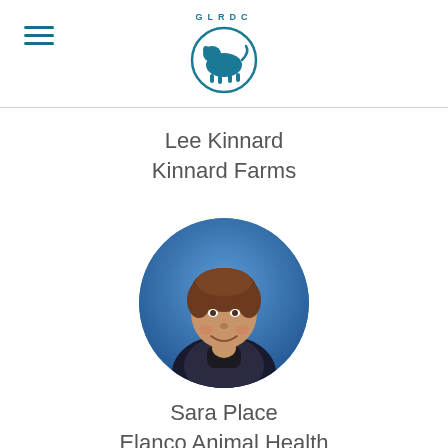GLRDC logo with hamburger menu
Lee Kinnard
Kinnard Farms
[Figure (photo): Circular portrait photo of Sara Place, a woman with short brown hair smiling, against a blue gradient background, wearing a dark jacket and turtleneck]
Sara Place
Elanco Animal Health